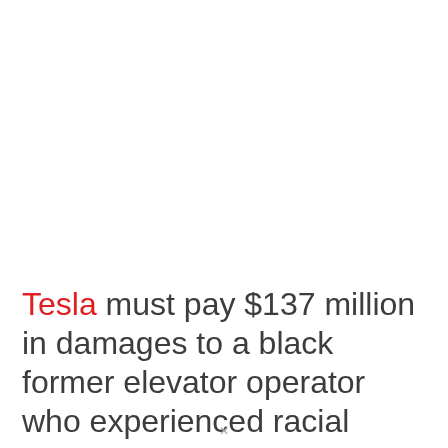Tesla must pay $137 million in damages to a black former elevator operator who experienced racial